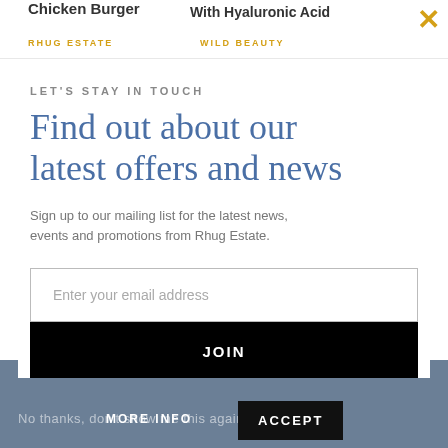Chicken Burger | With Hyaluronic Acid
RHUG ESTATE | WILD BEAUTY
LET'S STAY IN TOUCH
Find out about our latest offers and news
Sign up to our mailing list for the latest news, events and promotions from Rhug Estate.
Enter your email address
JOIN
No thanks, don't show me this again. | MORE INFO | ACCEPT